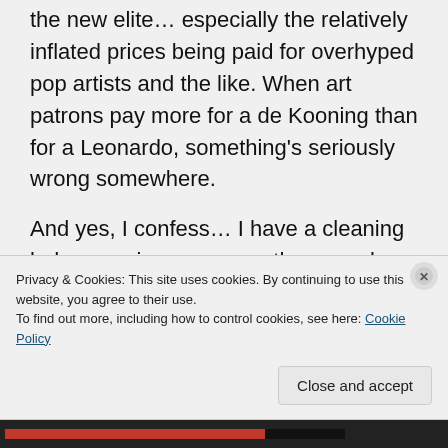the new elite… especially the relatively inflated prices being paid for overhyped pop artists and the like. When art patrons pay more for a de Kooning than for a Leonardo, something's seriously wrong somewhere.
And yes, I confess… I have a cleaning lady come in once every three weeks. The most beneficial effect of this arrangement is that it forces me to tidy the house every three
Privacy & Cookies: This site uses cookies. By continuing to use this website, you agree to their use.
To find out more, including how to control cookies, see here: Cookie Policy
Close and accept